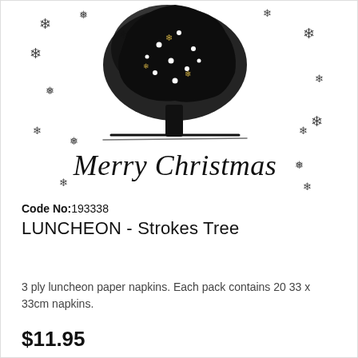[Figure (illustration): Christmas tree illustration in black brush-stroke style with gold and black snowflakes scattered around, white dot lights on the tree, and a 'Merry Christmas' cursive script below the tree on a white background]
Code No:193338
LUNCHEON - Strokes Tree
3 ply luncheon paper napkins. Each pack contains 20 33 x 33cm napkins.
$11.95